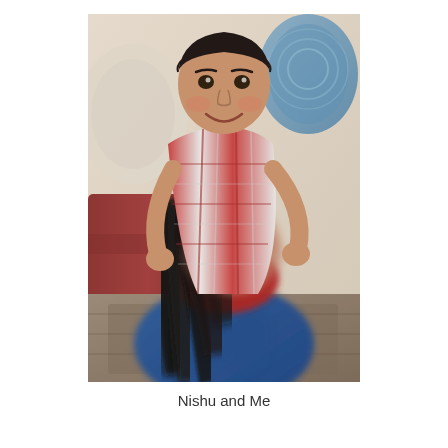[Figure (photo): A smiling boy in a red plaid shirt leaning over a woman with long dark hair and a white headband, who is wearing a blue and red outfit. They appear to be playing together indoors with cushions and a patterned sofa in the background.]
Nishu and Me